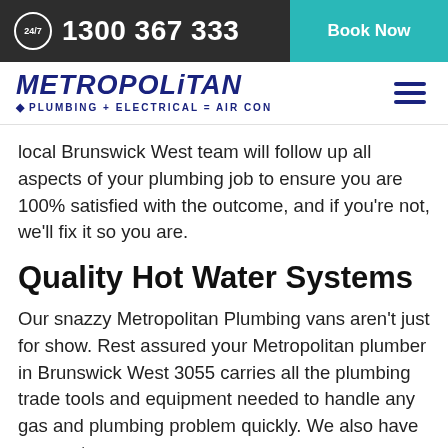24/7  1300 367 333  Book Now
[Figure (logo): Metropolitan Plumbing + Electrical = Air Con logo with hamburger menu icon]
local Brunswick West team will follow up all aspects of your plumbing job to ensure you are 100% satisfied with the outcome, and if you're not, we'll fix it so you are.
Quality Hot Water Systems
Our snazzy Metropolitan Plumbing vans aren't just for show. Rest assured your Metropolitan plumber in Brunswick West 3055 carries all the plumbing trade tools and equipment needed to handle any gas and plumbing problem quickly. We also have access to a